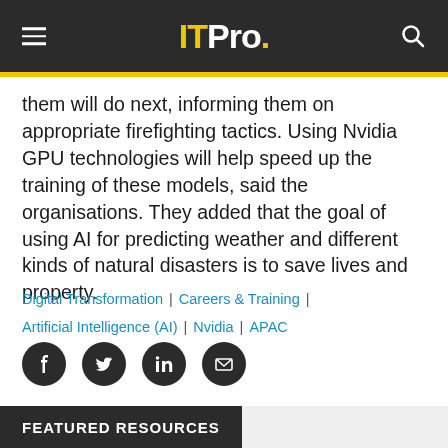ITPro.
them will do next, informing them on appropriate firefighting tactics. Using Nvidia GPU technologies will help speed up the training of these models, said the organisations. They added that the goal of using AI for predicting weather and different kinds of natural disasters is to save lives and property.
Digital Transformation | Careers & Training | Artificial Intelligence (AI) | Nvidia | APAC
[Figure (other): Social sharing icons: Facebook, Twitter, LinkedIn, Email]
FEATURED RESOURCES
C...